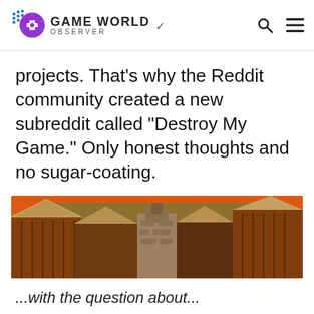GAME WORLD OBSERVER
projects. That’s why the Reddit community created a new subreddit called “Destroy My Game.” Only honest thoughts and no sugar-coating.
[Figure (photo): A wide panoramic game screenshot showing wooden village buildings with thatched roofs and a central stone chimney structure against an orange-red sky background.]
...with the question about...